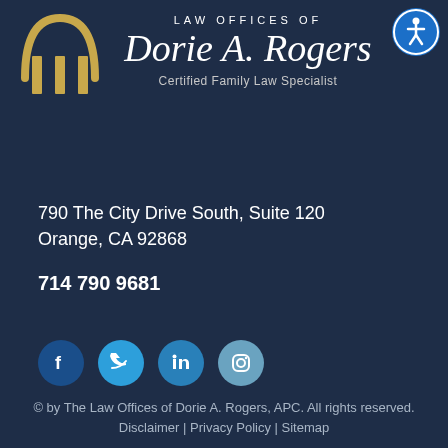[Figure (logo): Gold/tan law firm logo with arch and pillars on dark navy background, top left]
LAW OFFICES OF
Dorie A. Rogers
Certified Family Law Specialist
790 The City Drive South, Suite 120
Orange, CA 92868
714 790 9681
[Figure (illustration): Social media icons: Facebook (dark blue circle), Twitter (light blue circle), LinkedIn (blue circle), Instagram (light blue circle)]
© by The Law Offices of Dorie A. Rogers, APC. All rights reserved. Disclaimer | Privacy Policy | Sitemap